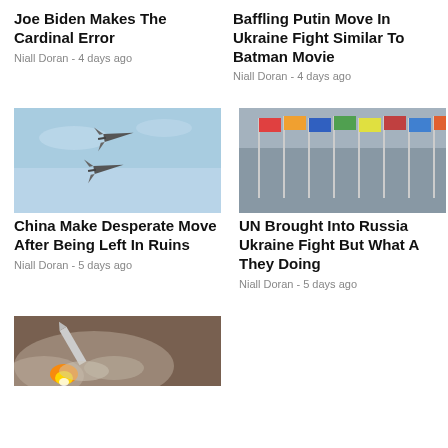Joe Biden Makes The Cardinal Error
Niall Doran - 4 days ago
Baffling Putin Move In Ukraine Fight Similar To Batman Movie
Niall Doran - 4 days ago
[Figure (photo): Two military fighter jets flying in formation against a blue sky]
China Make Desperate Move After Being Left In Ruins
Niall Doran - 5 days ago
[Figure (photo): Flags of multiple nations on poles in front of a curved building, likely the UN headquarters]
UN Brought Into Russia Ukraine Fight But What A They Doing
Niall Doran - 5 days ago
[Figure (photo): A missile or rocket launching with bright flame and smoke trails]